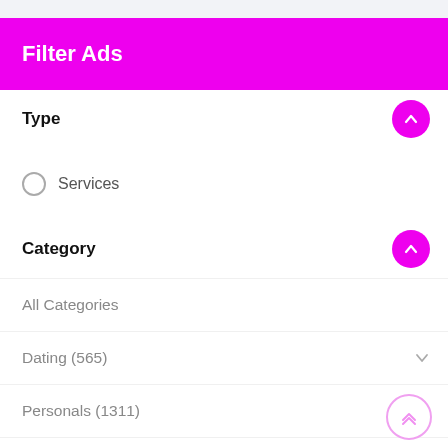Filter Ads
Type
Services
Category
All Categories
Dating (565)
Personals (1311)
Personals Services (63835)